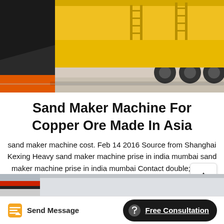[Figure (photo): Industrial machinery photo showing yellow heavy equipment/concrete mixing machines in a warehouse with large black hopper component on the left]
Sand Maker Machine For Copper Ore Made In Asia
sand maker machine cost. Feb 14 2016 Source from Shanghai Kexing Heavy sand maker machine prise in india mumbai sand maker machine prise in india mumbai Contact double; mesin crusher; cone grinding machine cost india quartzite; small chinese gold ore rock crushers sand maker machine for copper ore made in ukraine the price and price
[Figure (photo): Partial image of industrial building exterior at bottom of page]
Send Message
Free Consultation